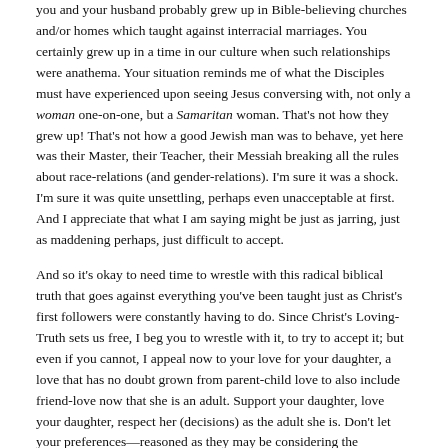you and your husband probably grew up in Bible-believing churches and/or homes which taught against interracial marriages. You certainly grew up in a time in our culture when such relationships were anathema. Your situation reminds me of what the Disciples must have experienced upon seeing Jesus conversing with, not only a woman one-on-one, but a Samaritan woman. That's not how they grew up! That's not how a good Jewish man was to behave, yet here was their Master, their Teacher, their Messiah breaking all the rules about race-relations (and gender-relations). I'm sure it was a shock. I'm sure it was quite unsettling, perhaps even unacceptable at first. And I appreciate that what I am saying might be just as jarring, just as maddening perhaps, just difficult to accept.
And so it's okay to need time to wrestle with this radical biblical truth that goes against everything you've been taught just as Christ's first followers were constantly having to do. Since Christ's Loving-Truth sets us free, I beg you to wrestle with it, to try to accept it; but even if you cannot, I appeal now to your love for your daughter, a love that has no doubt grown from parent-child love to also include friend-love now that she is an adult. Support your daughter, love your daughter, respect her (decisions) as the adult she is. Don't let your preferences—reasoned as they may be considering the difficulties that can still come as a part of interracial relationships—drive a wedge between you, driving your daughter away from you. Don't be the Enemy of that blood bond which